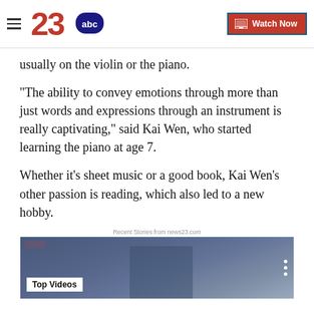23abc | Watch Now
usually on the violin or the piano.
“The ability to convey emotions through more than just words and expressions through an instrument is really captivating,” said Kai Wen, who started learning the piano at age 7.
Whether it’s sheet music or a good book, Kai Wen’s other passion is reading, which also led to a new hobby.
Recent Stories from news23.com
[Figure (screenshot): Video thumbnail showing Top Videos label with a laboratory scene in the background]